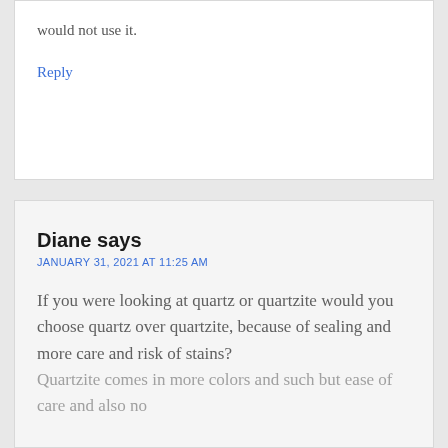would not use it.
Reply
Diane says
JANUARY 31, 2021 AT 11:25 AM
If you were looking at quartz or quartzite would you choose quartz over quartzite, because of sealing and more care and risk of stains?
Quartzite comes in more colors and such but ease of care and also no